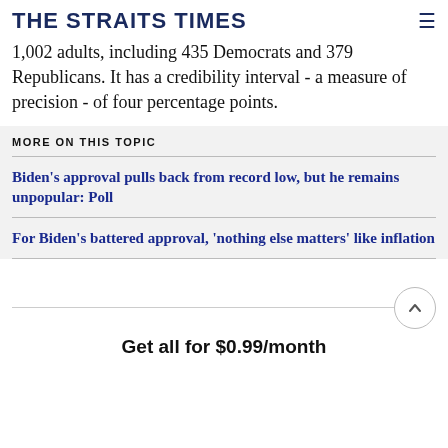THE STRAITS TIMES
1,002 adults, including 435 Democrats and 379 Republicans. It has a credibility interval - a measure of precision - of four percentage points.
MORE ON THIS TOPIC
Biden's approval pulls back from record low, but he remains unpopular: Poll
For Biden's battered approval, 'nothing else matters' like inflation
Get all for $0.99/month